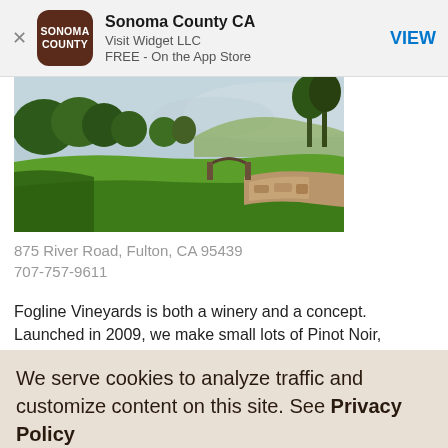[Figure (screenshot): App store banner for Sonoma County CA app by Visit Widget LLC, free on the App Store, with brown rounded square logo showing SONOMA COUNTY text, and a VIEW button on the right.]
[Figure (photo): Landscape photo showing green rolling hills, trees, a stone wall or bridge, and misty sky in Sonoma County wine country.]
875 River Road, Fulton, CA 95439
707-757-9611
Fogline Vineyards is both a winery and a concept. Launched in 2009, we make small lots of Pinot Noir, Zinfandel, Syrah and Chardonnay. Our home vineyard is located in the Sonoma Coast appellation, at...
We serve cookies to analyze traffic and customize content on this site. See Privacy Policy